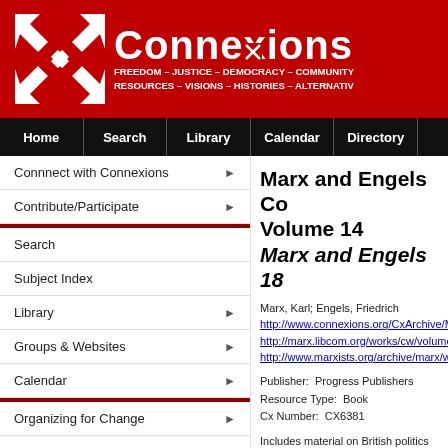Connexions — FREEDOM – JUSTICE – DEMOCRACY – COMMUNITY / RESOURCES – VISIONS – HISTORIES – ALTERNATIVES
Home | Search | Library | Calendar | Directory
Connnect with Connexions
Contribute/Participate
Search
Subject Index
Library
Groups & Websites
Calendar
Organizing for Change
Publicity & Media
Visions & Strategies
History
Marx and Engels Collected Works Volume 14 Marx and Engels 18...
Marx, Karl; Engels, Friedrich
http://www.connexions.org/CxArchive/MIA/...
http://marx.libcom.org/works/cw/volume14...
http://www.marxists.org/archive/marx/work...
Publisher:  Progress Publishers
Resource Type:  Book
Cx Number:  CX6381
Includes material on British politics and the...
Abstract:
-
Table of Contents